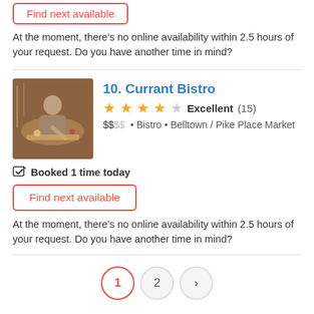Find next available
At the moment, there's no online availability within 2.5 hours of your request. Do you have another time in mind?
10. Currant Bistro
Excellent (15) $$$$ • Bistro • Belltown / Pike Place Market
Booked 1 time today
Find next available
At the moment, there's no online availability within 2.5 hours of your request. Do you have another time in mind?
1 2 ›